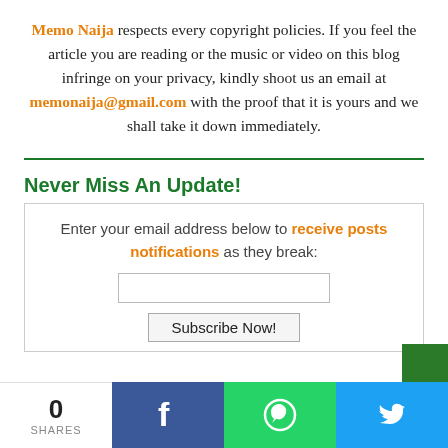Memo Naija respects every copyright policies. If you feel the article you are reading or the music or video on this blog infringe on your privacy, kindly shoot us an email at memonaija@gmail.com with the proof that it is yours and we shall take it down immediately.
Never Miss An Update!
Enter your email address below to receive posts notifications as they break:
0 SHARES | Facebook | WhatsApp | Twitter